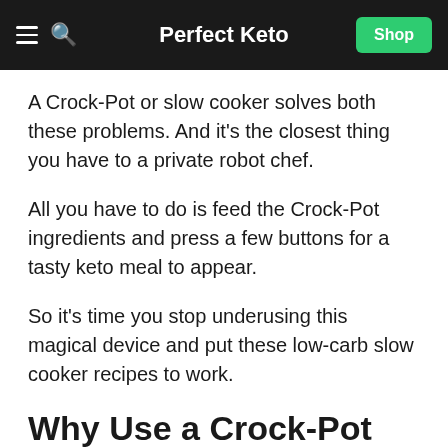Perfect Keto
A Crock-Pot or slow cooker solves both these problems. And it’s the closest thing you have to a private robot chef.
All you have to do is feed the Crock-Pot ingredients and press a few buttons for a tasty keto meal to appear.
So it’s time you stop underusing this magical device and put these low-carb slow cooker recipes to work.
Why Use a Crock-Pot On